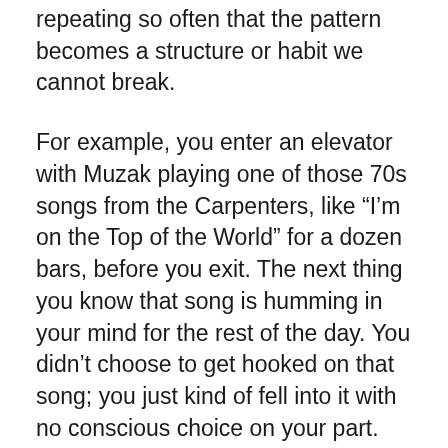repeating so often that the pattern becomes a structure or habit we cannot break.
For example, you enter an elevator with Muzak playing one of those 70s songs from the Carpenters, like “I’m on the Top of the World” for a dozen bars, before you exit. The next thing you know that song is humming in your mind for the rest of the day. You didn’t choose to get hooked on that song; you just kind of fell into it with no conscious choice on your part.
Your mind was exposed to what in music is called “the hook.” A hook is a musical phrase that is structured in such a way, that as it begins to end, it throws itself back to the